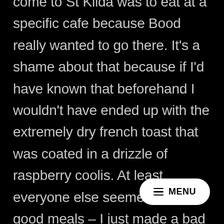come to St Kilda was to eat at a specific cafe because Bood really wanted to go there. It's a shame about that because if I'd have known that beforehand I wouldn't have ended up with the extremely dry french toast that was coated in a drizzle of raspberry coolis. At least everyone else seemed to have good meals – I just made a bad decision with mine. It was kind of funny because when we arrived they were kind enough to set up the bunch of tables and when we all sat down we proceeded to ignore each other and just r… paper and listen to the cool music in this